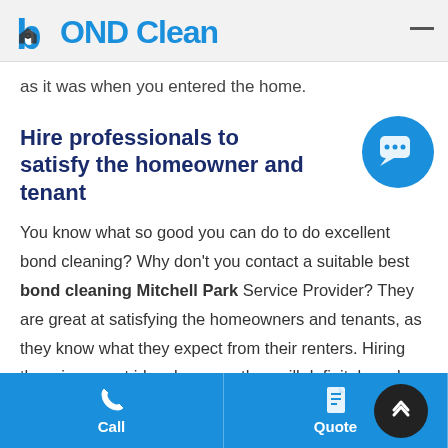bOND Clean
as it was when you entered the home.
Hire professionals to satisfy the homeowner and tenant
You know what so good you can do to do excellent bond cleaning? Why don't you contact a suitable best bond cleaning Mitchell Park Service Provider? They are great at satisfying the homeowners and tenants, as they know what they expect from their renters. Hiring them is a great idea, because they will definitely make up their mind of
Call | Quote